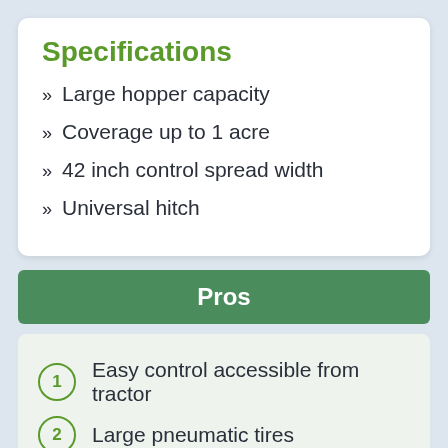Specifications
Large hopper capacity
Coverage up to 1 acre
42 inch control spread width
Universal hitch
Pros
1 Easy control accessible from tractor
2 Large pneumatic tires
3 Steel lift handle